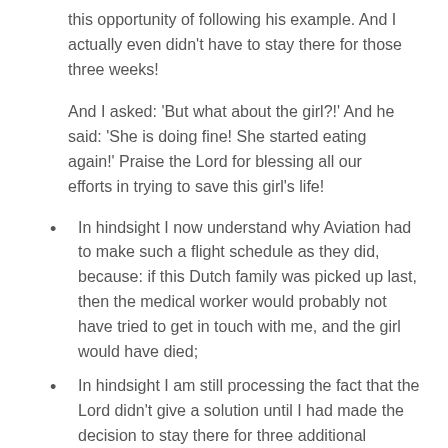this opportunity of following his example. And I actually even didn't have to stay there for those three weeks!
And I asked: 'But what about the girl?!' And he said: 'She is doing fine! She started eating again!' Praise the Lord for blessing all our efforts in trying to save this girl's life!
In hindsight I now understand why Aviation had to make such a flight schedule as they did, because: if this Dutch family was picked up last, then the medical worker would probably not have tried to get in touch with me, and the girl would have died;
In hindsight I am still processing the fact that the Lord didn't give a solution until I had made the decision to stay there for three additional weeks; and then it wasn't needed anymore. Apparently, He wanted to teach the community this lesson;